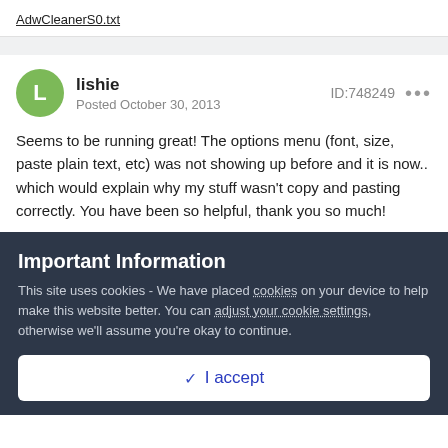AdwCleanerS0.txt
lishie
Posted October 30, 2013
ID:748249
Seems to be running great! The options menu (font, size, paste plain text, etc) was not showing up before and it is now.. which would explain why my stuff wasn't copy and pasting correctly. You have been so helpful, thank you so much!
Important Information
This site uses cookies - We have placed cookies on your device to help make this website better. You can adjust your cookie settings, otherwise we'll assume you're okay to continue.
✓ I accept